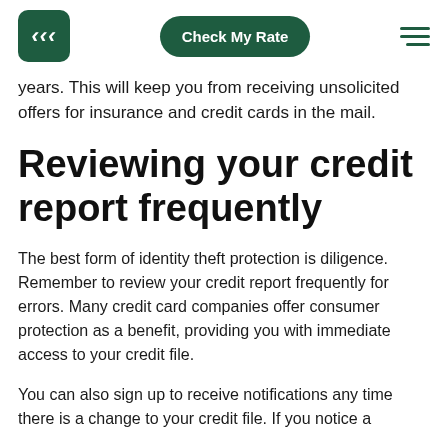Check My Rate
years. This will keep you from receiving unsolicited offers for insurance and credit cards in the mail.
Reviewing your credit report frequently
The best form of identity theft protection is diligence. Remember to review your credit report frequently for errors. Many credit card companies offer consumer protection as a benefit, providing you with immediate access to your credit file.
You can also sign up to receive notifications any time there is a change to your credit file. If you notice a